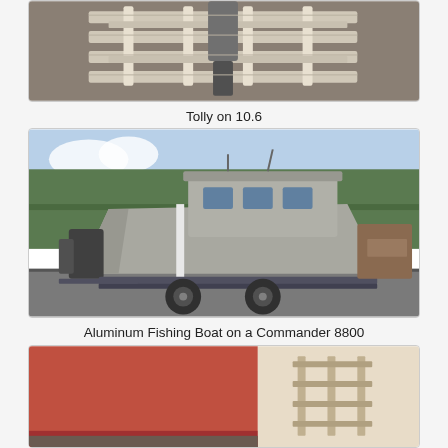[Figure (photo): Close-up photo of a white wooden boat trailer cradle/bunk structure on gravel ground]
Tolly on 10.6
[Figure (photo): Photo of an aluminum fishing boat with cabin on a tandem-axle trailer in a parking lot with trees in background]
Aluminum Fishing Boat on a Commander 8800
[Figure (photo): Partial photo of a red-hulled boat on a trailer, partially visible at bottom of page]